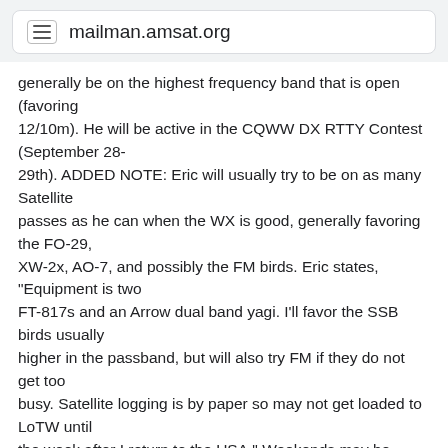mailman.amsat.org
generally be on the highest frequency band that is open (favoring 12/10m). He will be active in the CQWW DX RTTY Contest (September 28-29th). ADDED NOTE: Eric will usually try to be on as many Satellite passes as he can when the WX is good, generally favoring the FO-29, XW-2x, AO-7, and possibly the FM birds. Eric states, "Equipment is two FT-817s and an Arrow dual band yagi. I'll favor the SSB birds usually higher in the passband, but will also try FM if they do not get too busy. Satellite logging is by paper so may not get loaded to LoTW until the week after I return to the USA." Weekends may be limited since he will be concentrating on the low(er) bands and contests. QSL